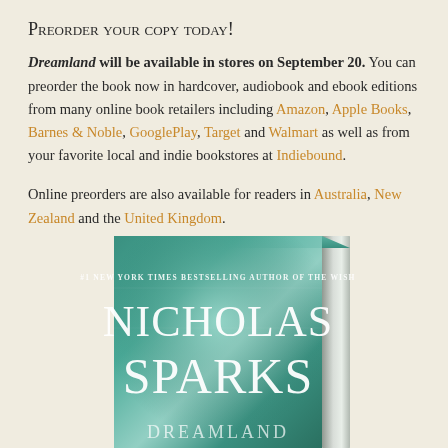Preorder your copy today!
Dreamland will be available in stores on September 20. You can preorder the book now in hardcover, audiobook and ebook editions from many online book retailers including Amazon, Apple Books, Barnes & Noble, GooglePlay, Target and Walmart as well as from your favorite local and indie bookstores at Indiebound.
Online preorders are also available for readers in Australia, New Zealand and the United Kingdom.
[Figure (photo): Book cover of Dreamland by Nicholas Sparks shown in 3D perspective, teal/green gradient cover with white text. Shows '#1 NEW YORK TIMES BESTSELLING AUTHOR OF THE WISH' and author name 'NICHOLAS SPARKS' in large letters.]